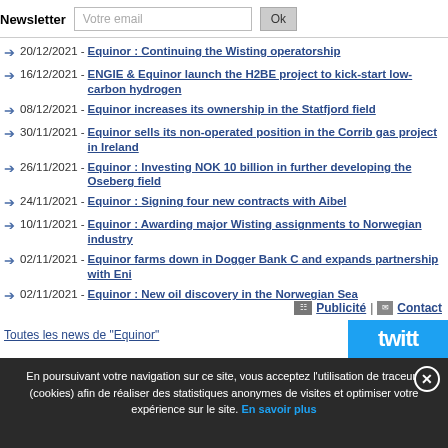Newsletter  Votre email  Ok
20/12/2021 - Equinor : Continuing the Wisting operatorship
16/12/2021 - ENGIE & Equinor launch the H2BE project to kick-start low-carbon hydrogen
08/12/2021 - Equinor increases its ownership in the Statfjord field
30/11/2021 - Equinor sells its non-operated position in the Corrib gas project in Ireland
26/11/2021 - Equinor : Investing NOK 10 billion in further developing the Oseberg field
24/11/2021 - Equinor : Signing four new contracts with Aibel
10/11/2021 - Equinor : Awarding major Wisting assignments to Norwegian industry
02/11/2021 - Equinor farms down in Dogger Bank C and expands partnership with Eni
02/11/2021 - Equinor : New oil discovery in the Norwegian Sea
Toutes les news de "Equinor"
Publicité | Contact
twitter
En poursuivant votre navigation sur ce site, vous acceptez l'utilisation de traceurs (cookies) afin de réaliser des statistiques anonymes de visites et optimiser votre expérience sur le site. En savoir plus